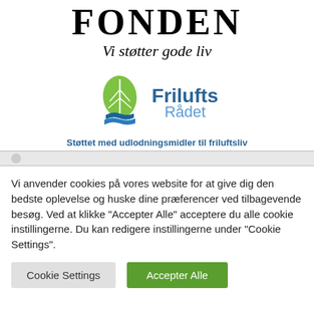FONDEN
Vi støtter gode liv
[Figure (logo): FriluftsRådet logo with green leaf and blue water waves, and the text 'Frilufts Rådet' in blue]
Støttet med udlodningsmidler til friluftsliv
Vi anvender cookies på vores website for at give dig den bedste oplevelse og huske dine præferencer ved tilbagevende besøg. Ved at klikke "Accepter Alle" acceptere du alle cookie instillingerne. Du kan redigere instillingerne under "Cookie Settings".
Cookie Settings | Accepter Alle